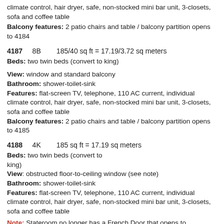climate control, hair dryer, safe, non-stocked mini bar unit, 3-closets, sofa and coffee table
Balcony features: 2 patio chairs and table / balcony partition opens to 4184
4187    8B    185/40 sq ft = 17.19/3.72 sq meters
Beds: two twin beds (convert to king)
View: window and standard balcony
Bathroom: shower-toilet-sink
Features: flat-screen TV, telephone, 110 AC current, individual climate control, hair dryer, safe, non-stocked mini bar unit, 3-closets, sofa and coffee table
Balcony features: 2 patio chairs and table / balcony partition opens to 4185
4188    4K    185 sq ft = 17.19 sq meters
Beds: two twin beds (convert to king)
View: obstructed floor-to-ceiling window (see note)
Bathroom: shower-toilet-sink
Features: flat-screen TV, telephone, 110 AC current, individual climate control, hair dryer, safe, non-stocked mini bar unit, 3-closets, sofa and coffee table
Note: Stateroom no longer has a French Door that opens to